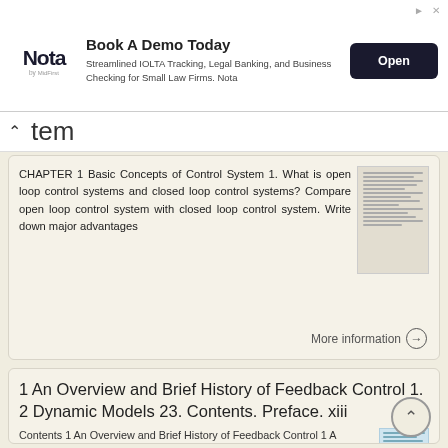[Figure (other): Advertisement banner: Book A Demo Today — Nota by MidFirst bank. Streamlined IOLTA Tracking, Legal Banking, and Business Checking for Small Law Firms. Nota. Open button.]
tem
CHAPTER 1 Basic Concepts of Control System 1. What is open loop control systems and closed loop control systems? Compare open loop control system with closed loop control system. Write down major advantages
More information →
1 An Overview and Brief History of Feedback Control 1. 2 Dynamic Models 23. Contents. Preface. xiii
Contents 1 An Overview and Brief History of Feedback Control 1 A Perspective on